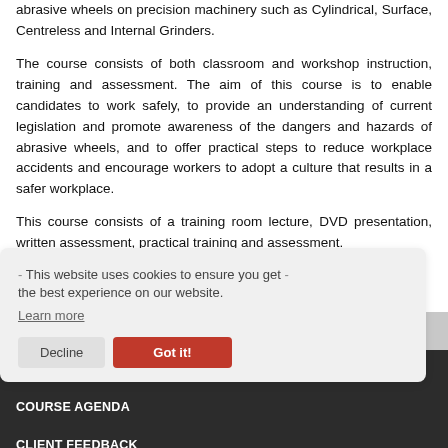abrasive wheels on precision machinery such as Cylindrical, Surface, Centreless and Internal Grinders.
The course consists of both classroom and workshop instruction, training and assessment. The aim of this course is to enable candidates to work safely, to provide an understanding of current legislation and promote awareness of the dangers and hazards of abrasive wheels, and to offer practical steps to reduce workplace accidents and encourage workers to adopt a culture that results in a safer workplace.
This course consists of a training room lecture, DVD presentation, written assessment, practical training and assessment.
This website uses cookies to ensure you get the best experience on our website.
Learn more
WHO SHOULD ATTEND?
QUALIFICATION
COURSE AGENDA
CLIENT FEEDBACK